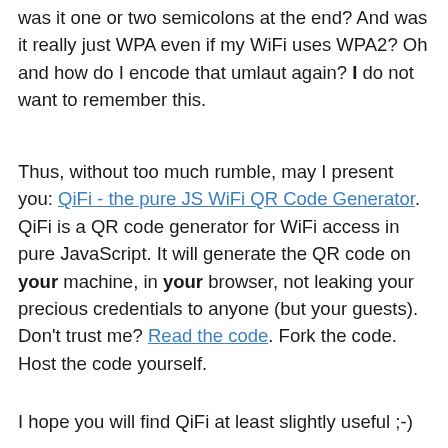was it one or two semicolons at the end? And was it really just WPA even if my WiFi uses WPA2? Oh and how do I encode that umlaut again? I do not want to remember this.
Thus, without too much rumble, may I present you: QiFi - the pure JS WiFi QR Code Generator. QiFi is a QR code generator for WiFi access in pure JavaScript. It will generate the QR code on your machine, in your browser, not leaking your precious credentials to anyone (but your guests). Don't trust me? Read the code. Fork the code. Host the code yourself.
I hope you will find QiFi at least slightly useful ;-)